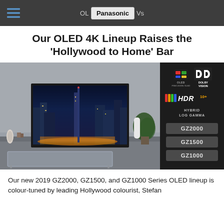OLED … Panasonic … TVs
Our OLED 4K Lineup Raises the ‘Hollywood to Home’ Bar
[Figure (photo): Panasonic OLED 4K TV in a modern living room setting, with a dark right panel showing OLED, Dolby Vision, HDR10+, Hybrid Log Gamma logos and model buttons GZ2000, GZ1500, GZ1000]
Our new 2019 GZ2000, GZ1500, and GZ1000 Series OLED lineup is colour-tuned by leading Hollywood colourist, Stefan